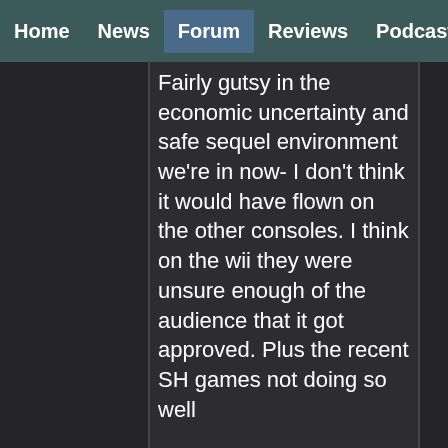Home | News | Forum | Reviews | Podcast
Fairly gutsy in the economic uncertainty and safe sequel environment we're in now- I don't think it would have flown on the other consoles. I think on the wii they were unsure enough of the audience that it got approved. Plus the recent SH games not doing so well